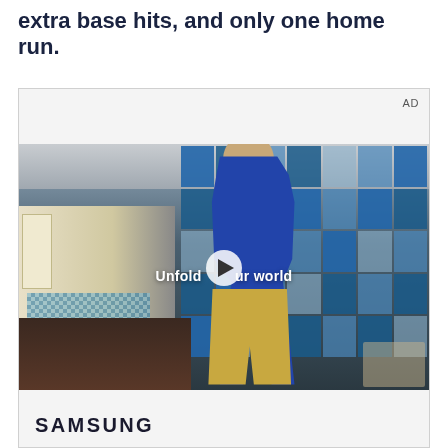extra base hits, and only one home run.
[Figure (screenshot): Advertisement video screenshot showing a young man in a denim jacket walking through what appears to be a cafeteria or food court. The background features a large grid window with blue-tinted glass panels. Text overlay reads 'Unfold your world' with a play button icon in the center. The bottom section shows the Samsung logo.]